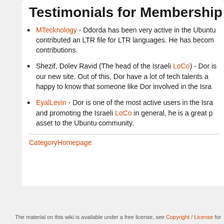Testimonials for Membership Appl
MTecknology - Ddorda has been very active in the Ubuntu contributed an LTR file for LTR languages. He has becom contributions.
Shezif, Dolev Ravid (The head of the Israeli LoCo) - Dor is our new site. Out of this, Dor have a lot of tech talents a happy to know that someone like Dor involved in the Isra
EyalLevin - Dor is one of the most active users in the Isra and promoting the Israeli LoCo in general, he is a great p asset to the Ubuntu community.
CategoryHomepage
The material on this wiki is available under a free license, see Copyright / License for